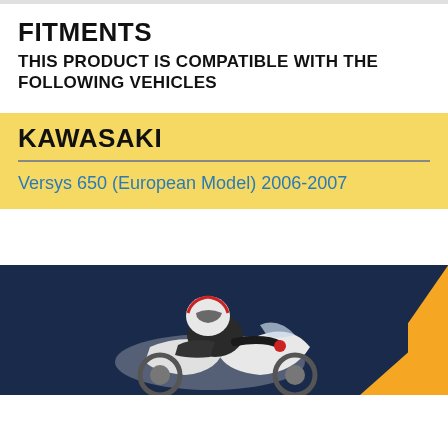FITMENTS
THIS PRODUCT IS COMPATIBLE WITH THE FOLLOWING VEHICLES
KAWASAKI
Versys 650 (European Model) 2006-2007
[Figure (photo): Motorcycle racer leaning into a turn on a white racing motorcycle with dark navy and gold background]